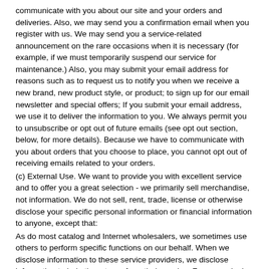communicate with you about our site and your orders and deliveries. Also, we may send you a confirmation email when you register with us. We may send you a service-related announcement on the rare occasions when it is necessary (for example, if we must temporarily suspend our service for maintenance.) Also, you may submit your email address for reasons such as to request us to notify you when we receive a new brand, new product style, or product; to sign up for our email newsletter and special offers; If you submit your email address, we use it to deliver the information to you. We always permit you to unsubscribe or opt out of future emails (see opt out section, below, for more details). Because we have to communicate with you about orders that you choose to place, you cannot opt out of receiving emails related to your orders.
(c) External Use. We want to provide you with excellent service and to offer you a great selection - we primarily sell merchandise, not information. We do not sell, rent, trade, license or otherwise disclose your specific personal information or financial information to anyone, except that:
As do most catalog and Internet wholesalers, we sometimes use others to perform specific functions on our behalf. When we disclose information to these service providers, we disclose information to help them to perform their service. For example, in order to deliver products to you, we must share some information. We partner with third parties (such as DHL, and UPS) to ship products, to ensure delivery, and so that we can obtain feedback, improve the quality of our service, and measure and improve the quality of the service of the third party. In the example of shippers, we provide them some personally identifiable information such as your name, shipping address, email, and phone number.
Similarly, to help you buy products and provide customer service to you, we must provide your credit card number to financial-services corporations such as credit-card processors and issuers. When we submit your credit card number for authorization,